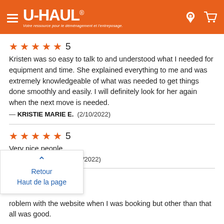U-HAUL® — Votre ressource pour le déménagement et l'entreposage.
★★★★★ 5
Kristen was so easy to talk to and understood what I needed for equipment and time. She explained everything to me and was extremely knowledgeable of what was needed to get things done smoothly and easily. I will definitely look for her again when the next move is needed.
— KRISTIE MARIE E.  (2/10/2022)
★★★★★ 5
Very nice people
— BRENDA LEE R.  (2/9/2022)
Retour
Haut de la page
roblem with the website when I was booking but other than that all was good.